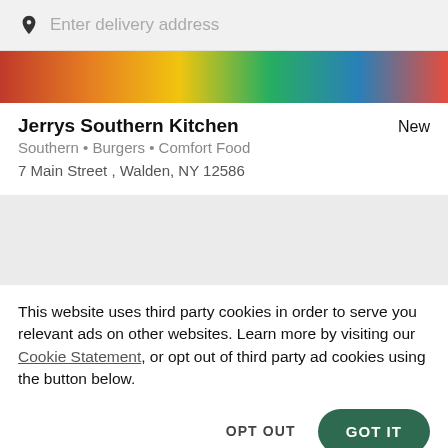Enter delivery address
[Figure (photo): Food image banner showing colorful dishes]
Jerrys Southern Kitchen
New
Southern • Burgers • Comfort Food
7 Main Street , Walden, NY 12586
[Figure (map): Gray map placeholder area]
This website uses third party cookies in order to serve you relevant ads on other websites. Learn more by visiting our Cookie Statement, or opt out of third party ad cookies using the button below.
OPT OUT
GOT IT